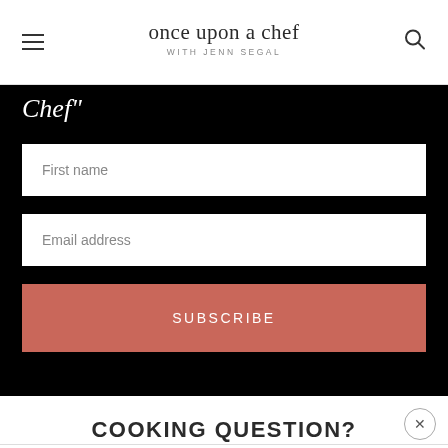once upon a chef WITH JENN SEGAL
Chef"
First name
Email address
SUBSCRIBE
COOKING QUESTION?